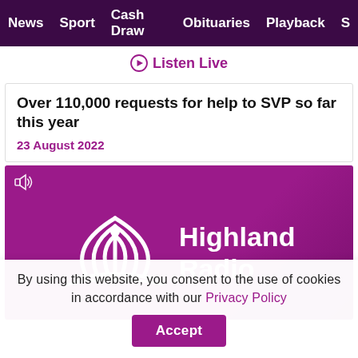News  Sport  Cash Draw  Obituaries  Playback  S
Listen Live
Over 110,000 requests for help to SVP so far this year
23 August 2022
[Figure (logo): Highland Radio logo on purple/magenta background with radio tower icon and sound icon in top left corner]
By using this website, you consent to the use of cookies in accordance with our Privacy Policy  Accept